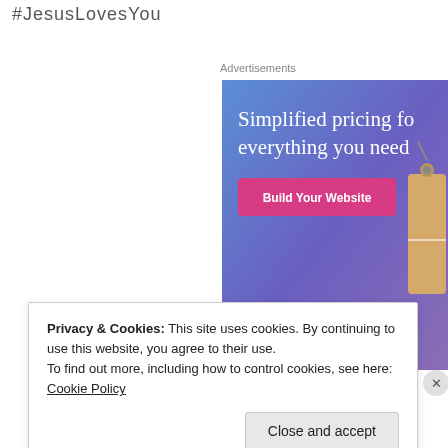#JesusLovesYou
Advertisements
[Figure (screenshot): WordPress.com advertisement banner with gradient blue-purple background, text 'Simplified pricing for everything you need', a pink 'Build Your Website' button, a price tag illustration on the right, and WordPress.com logo at the bottom.]
Privacy & Cookies: This site uses cookies. By continuing to use this website, you agree to their use.
To find out more, including how to control cookies, see here: Cookie Policy